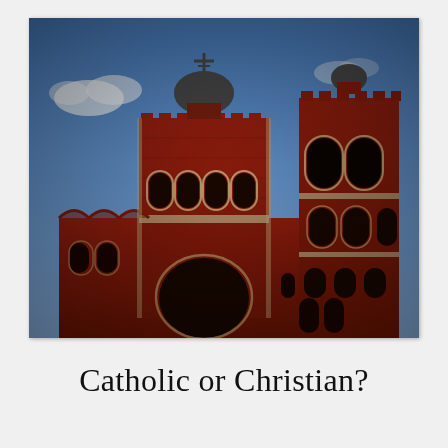[Figure (photo): Photograph of a red brick Russian Orthodox or Catholic church building taken from a low angle looking up. The church features onion domes with a cross on top of a central tower, ornate arched windows with decorative stonework, and a tall bell tower to the right. The sky is bright blue with a few white clouds.]
Catholic or Christian?